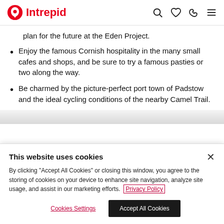Intrepid
plan for the future at the Eden Project.
Enjoy the famous Cornish hospitality in the many small cafes and shops, and be sure to try a famous pasties or two along the way.
Be charmed by the picture-perfect port town of Padstow and the ideal cycling conditions of the nearby Camel Trail.
This website uses cookies
By clicking "Accept All Cookies" or closing this window, you agree to the storing of cookies on your device to enhance site navigation, analyze site usage, and assist in our marketing efforts.  Privacy Policy
Cookies Settings    Accept All Cookies